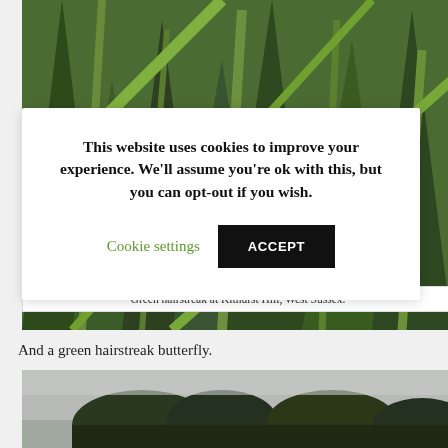[Figure (photo): Close-up photograph of a green hairstreak butterfly resting among green grass stems]
This website uses cookies to improve your experience. We'll assume you're ok with this, but you can opt-out if you wish.
Cookie settings   ACCEPT
Green hairstreak at Kithurst Hill, West Sussex.
And a green hairstreak butterfly.
[Figure (photo): Landscape photograph showing trees against a grey sky]